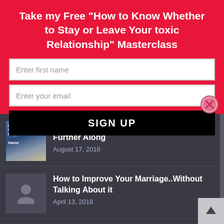Take my Free "How to Know Whether to Stay or Leave Your toxic Relationship" Masterclass
Enter first name
Enter your email
SIGN UP
When You're Feeling Like You Should Be Further Along
August 17, 2018
How to Improve Your Marriage..Without Talking About it
April 13, 2018
What To Do About Midday Energy Crashes